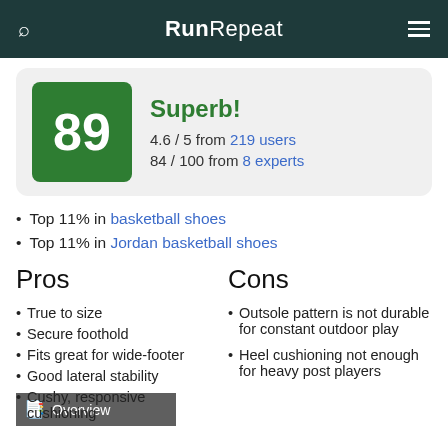RunRepeat
Superb! 4.6 / 5 from 219 users 84 / 100 from 8 experts
Top 11% in basketball shoes
Top 11% in Jordan basketball shoes
Pros
Cons
True to size
Secure foothold
Fits great for wide-footer
Good lateral stability
Cushy, responsive cushioning
Outsole pattern is not durable for constant outdoor play
Heel cushioning not enough for heavy post players